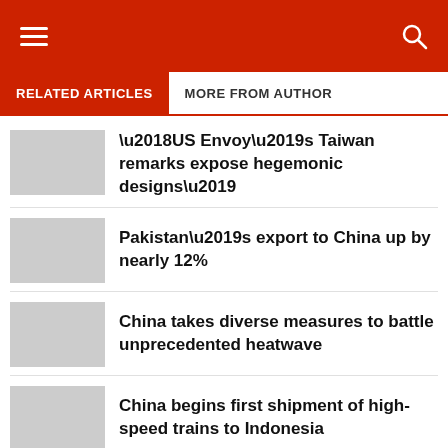RELATED ARTICLES   MORE FROM AUTHOR
‘US Envoy’s Taiwan remarks expose hegemonic designs’
Pakistan’s export to China up by nearly 12%
China takes diverse measures to battle unprecedented heatwave
China begins first shipment of high-speed trains to Indonesia